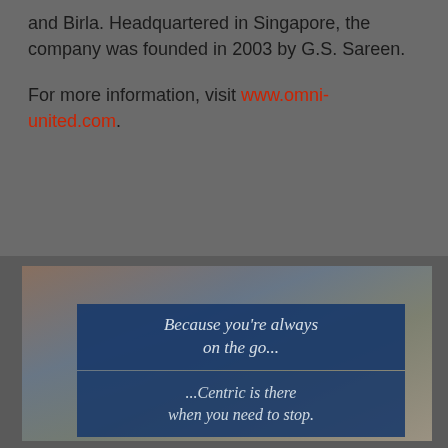and Birla. Headquartered in Singapore, the company was founded in 2003 by G.S. Sareen.
For more information, visit www.omni-united.com.
You must login or register in order to post a comment.
[Figure (photo): Advertisement image showing a top-down street scene with two blue banner overlays. Top banner reads 'Because you're always on the go...' and bottom banner reads '...Centric is there when you need to stop.']